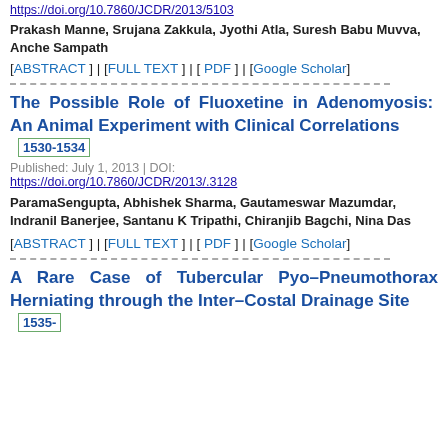https://doi.org/10.7860/JCDR/2013/5103
Prakash Manne, Srujana Zakkula, Jyothi Atla, Suresh Babu Muvva, Anche Sampath
[ABSTRACT ] | [FULL TEXT ] | [ PDF ] | [Google Scholar]
- - - - - - - - - - - - - - - - - - - - - - - - - - - - - - - - - - - -
The Possible Role of Fluoxetine in Adenomyosis: An Animal Experiment with Clinical Correlations 1530-1534
Published: July 1, 2013 | DOI: https://doi.org/10.7860/JCDR/2013/.3128
ParamaSengupta, Abhishek Sharma, Gautameswar Mazumdar, Indranil Banerjee, Santanu K Tripathi, Chiranjib Bagchi, Nina Das
[ABSTRACT ] | [FULL TEXT ] | [ PDF ] | [Google Scholar]
- - - - - - - - - - - - - - - - - - - - - - - - - - - - - - - - - - - -
A Rare Case of Tubercular Pyo–Pneumothorax Herniating through the Inter–Costal Drainage Site 1535-